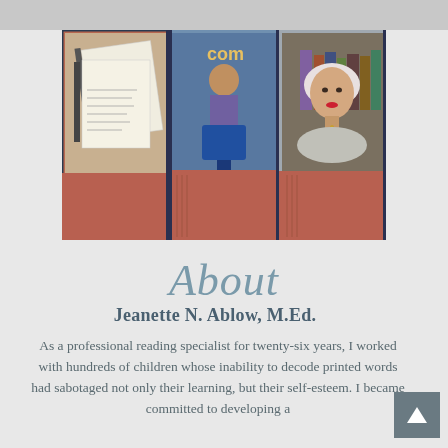[Figure (photo): A collage of three photo panels: left panel shows spiral-bound documents/papers, middle panel shows a person speaking at a podium with a blue lectern, right panel shows a portrait of a woman with short white/silver hair wearing a light gray top.]
About
Jeanette N. Ablow, M.Ed.
As a professional reading specialist for twenty-six years, I worked with hundreds of children whose inability to decode printed words had sabotaged not only their learning, but their self-esteem. I became committed to developing a